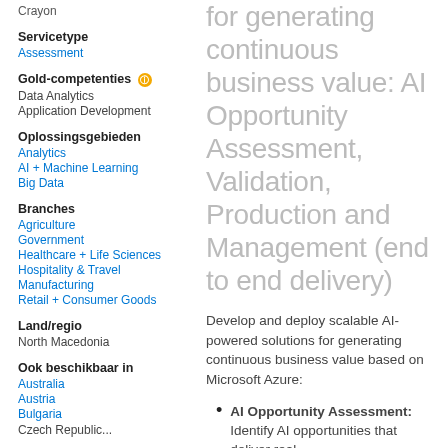Crayon
Servicetype
Assessment
Gold-competenties
Data Analytics
Application Development
Oplossingsgebieden
Analytics
AI + Machine Learning
Big Data
Branches
Agriculture
Government
Healthcare + Life Sciences
Hospitality & Travel
Manufacturing
Retail + Consumer Goods
Land/regio
North Macedonia
Ook beschikbaar in
Australia
Austria
Bulgaria
for generating continuous business value: AI Opportunity Assessment, Validation, Production and Management (end to end delivery)
Develop and deploy scalable AI-powered solutions for generating continuous business value based on Microsoft Azure:
AI Opportunity Assessment: Identify AI opportunities that deliver real